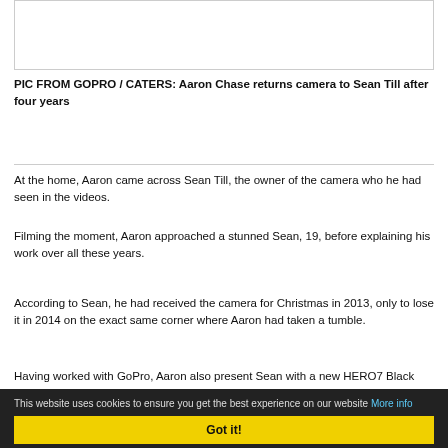[Figure (photo): Image placeholder at top of page]
PIC FROM GOPRO / CATERS: Aaron Chase returns camera to Sean Till after four years
At the home, Aaron came across Sean Till, the owner of the camera who he had seen in the videos.
Filming the moment, Aaron approached a stunned Sean, 19, before explaining his work over all these years.
According to Sean, he had received the camera for Christmas in 2013, only to lose it in 2014 on the exact same corner where Aaron had taken a tumble.
Having worked with GoPro, Aaron also present Sean with a new HERO7 Black camera to replace the now-outdated version of the device that he was returning.
This website uses cookies to ensure you get the best experience on our website More info Got it!